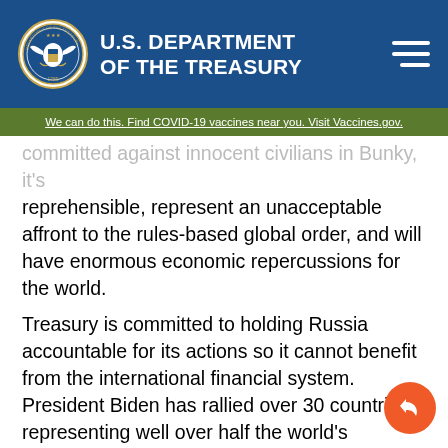U.S. DEPARTMENT OF THE TREASURY
We can do this. Find COVID-19 vaccines near you. Visit Vaccines.gov.
committed against innocent civilians in bunky, it's reprehensible, represent an unacceptable affront to the rules-based global order, and will have enormous economic repercussions for the world.
Treasury is committed to holding Russia accountable for its actions so it cannot benefit from the international financial system. President Biden has rallied over 30 countries, representing well over half the world's economy, to impose swift, severe sanctions and export controls on Russia. Treasury is also working collectively with our partners to block Russia from accessing benefits from IFIs. Both the World Bank and the European Bank for Reconstruction